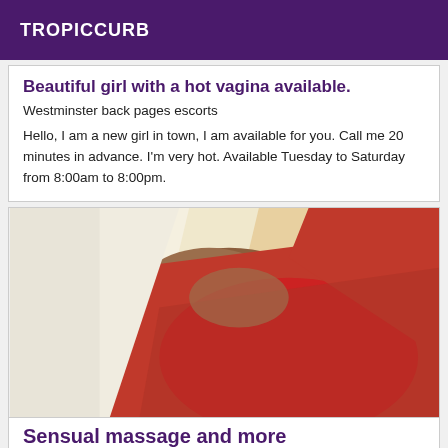TROPICCURB
Beautiful girl with a hot vagina available.
Westminster back pages escorts
Hello, I am a new girl in town, I am available for you. Call me 20 minutes in advance. I'm very hot. Available Tuesday to Saturday from 8:00am to 8:00pm.
[Figure (photo): Close-up photo of a person in red lingerie/swimwear against a light background]
Sensual massage and more